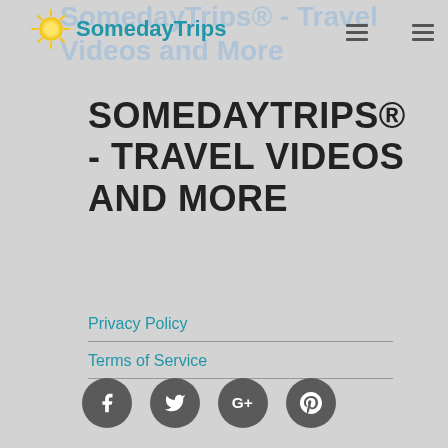SomedayTrips® - Travel Videos and More
SOMEDAYTRIPS® - TRAVEL VIDEOS AND MORE
Privacy Policy
Terms of Service
[Figure (other): Social media icons: Facebook, Twitter, Google+, Pinterest]